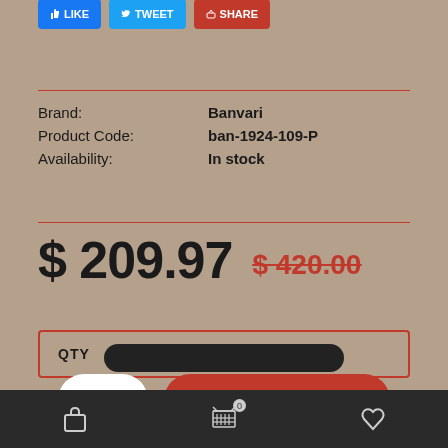[Figure (screenshot): Social share buttons: Like, Tweet, Share in blue and red]
Brand: Banvari
Product Code: ban-1924-109-P
Availability: In stock
$ 209.97  $ 420.00
QTY
1  ADD TO CART
Cart  Basket 0  Wishlist